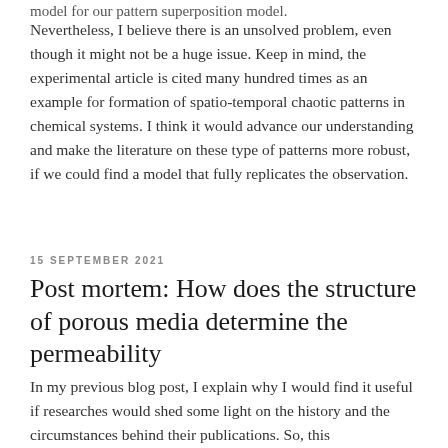model for our pattern superposition model.
Nevertheless, I believe there is an unsolved problem, even though it might not be a huge issue. Keep in mind, the experimental article is cited many hundred times as an example for formation of spatio-temporal chaotic patterns in chemical systems. I think it would advance our understanding and make the literature on these type of patterns more robust, if we could find a model that fully replicates the observation.
15 SEPTEMBER 2021
Post mortem: How does the structure of porous media determine the permeability
In my previous blog post, I explain why I would find it useful if researches would shed some light on the history and the circumstances behind their publications. So, this